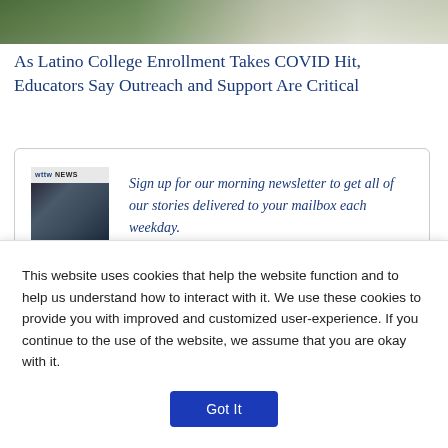[Figure (photo): Top banner image showing a classroom or gathering scene with green tones and a notebook/book visible]
As Latino College Enrollment Takes COVID Hit, Educators Say Outreach and Support Are Critical
Sign up for our morning newsletter to get all of our stories delivered to your mailbox each weekday.
ALSO ON WTTW (WWCI)
This website uses cookies that help the website function and to help us understand how to interact with it. We use these cookies to provide you with improved and customized user-experience. If you continue to the use of the website, we assume that you are okay with it.
Got It